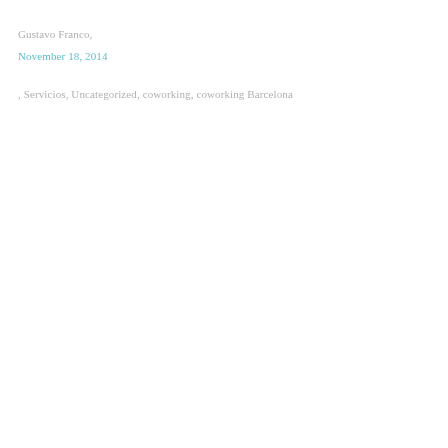Gustavo Franco,
November 18, 2014
, Servicios, Uncategorized, coworking, coworking Barcelona